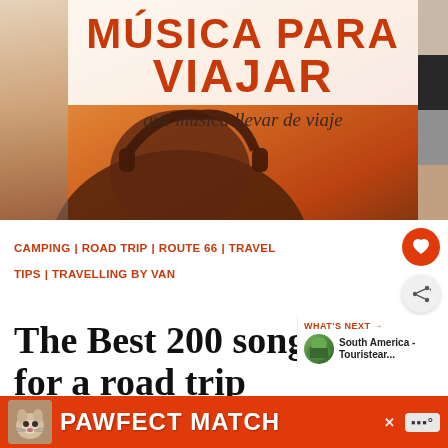[Figure (photo): Music travel image with orange/sunset background showing headphones silhouette, text overlay 'MUSICA PARA VIAJAR' in bold red-orange, and handwritten script 'qué música llevar de viaje'. Color swatches on the right side.]
CAMPING | ROAD TRIP | ROUTE 66 | TRAVEL TIPS | TRAVELLING BY VAN
The Best 200 songs for a road trip
WHAT'S NEXT → South America - Touristear...
[Figure (photo): Advertisement banner with orange background showing a cat photo on left and 'PAWFECT MATCH' text in bold white. X close button visible. Music streaming icon on the right.]